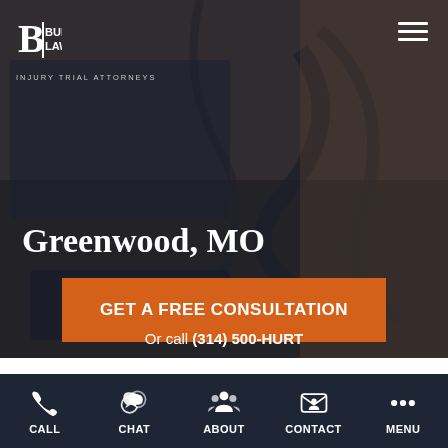[Figure (screenshot): Burger Law law firm mobile website screenshot showing hero image with dark overlay, logo, hamburger menu, city name Greenwood MO, CTA button, phone number, and bottom navigation bar]
Greenwood, MO
GET A FREE CONSULTATION
Or call (314) 500-HURT
CALL  CHAT  ABOUT  CONTACT  MENU